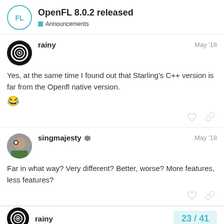OpenFL 8.0.2 released — Announcements
rainy — May '18
Yes, at the same time I found out that Starling's C++ version is far from the Openfl native version. 😂
singmajesty — May '18
Far in what way? Very different? Better, worse? More features, less features?
rainy — 23 / 41